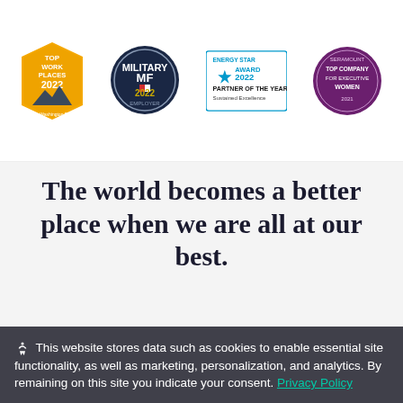[Figure (other): Four award badges in a row: 'Top Work Places 2022' (gold pentagon badge from The Washington Post), 'Military Friendly 2022 Employer' (dark circle badge), 'Energy Star Award 2022 Partner of the Year Sustained Excellence' (blue/teal badge), and 'Seramount Top Company for Executive Women 2021' (purple circle badge)]
The world becomes a better place when we are all at our best.
This website stores data such as cookies to enable essential site functionality, as well as marketing, personalization, and analytics. By remaining on this site you indicate your consent. Privacy Policy